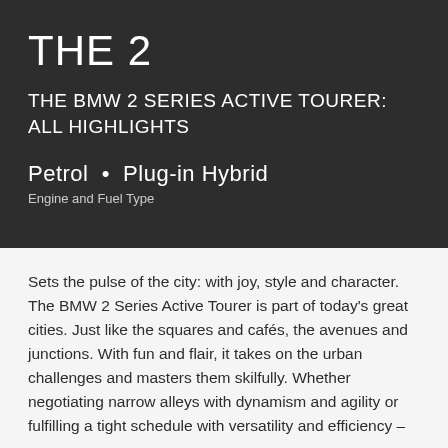THE 2
THE BMW 2 SERIES ACTIVE TOURER: ALL HIGHLIGHTS
Petrol  •  Plug-in Hybrid
Engine and Fuel Type
Sets the pulse of the city: with joy, style and character. The BMW 2 Series Active Tourer is part of today's great cities. Just like the squares and cafés, the avenues and junctions. With fun and flair, it takes on the urban challenges and masters them skilfully. Whether negotiating narrow alleys with dynamism and agility or fulfilling a tight schedule with versatility and efficiency –